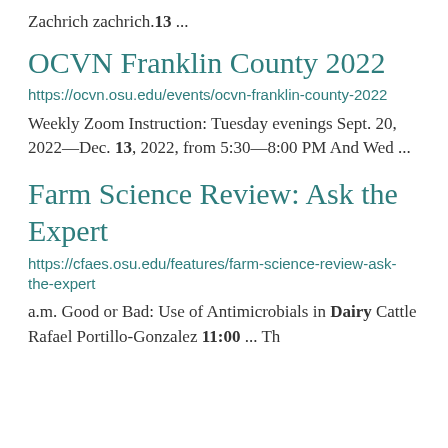Zachrich zachrich.13 ...
OCVN Franklin County 2022
https://ocvn.osu.edu/events/ocvn-franklin-county-2022
Weekly Zoom Instruction: Tuesday evenings Sept. 20, 2022—Dec. 13, 2022, from 5:30—8:00 PM  And Wed ...
Farm Science Review: Ask the Expert
https://cfaes.osu.edu/features/farm-science-review-ask-the-expert
a.m. Good or Bad: Use of Antimicrobials in Dairy Cattle Rafael Portillo-Gonzalez 11:00 ... Th